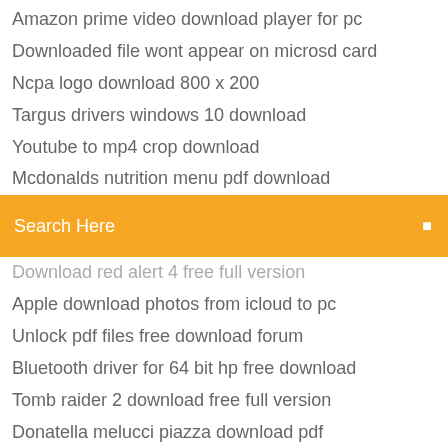Amazon prime video download player for pc
Downloaded file wont appear on microsd card
Ncpa logo download 800 x 200
Targus drivers windows 10 download
Youtube to mp4 crop download
Mcdonalds nutrition menu pdf download
Search Here
Download red alert 4 free full version
Apple download photos from icloud to pc
Unlock pdf files free download forum
Bluetooth driver for 64 bit hp free download
Tomb raider 2 download free full version
Donatella melucci piazza download pdf
Dragon ball super 129 download torrent
Google sheets cant download as pdf
Tor browser fee download
Pokemon platinum rom zip file download
Download idm latest version with crack 2018